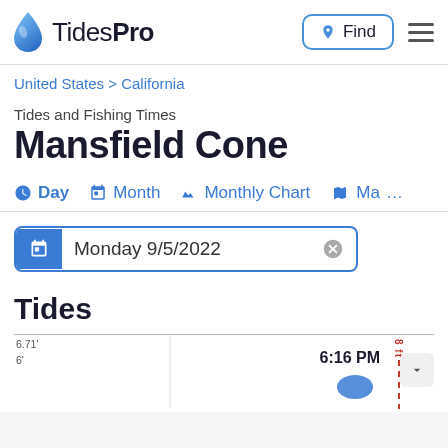TidesPro
United States > California
Tides and Fishing Times
Mansfield Cone
Day  Month  Monthly Chart  Ma…
Monday 9/5/2022
Tides
[Figure (continuous-plot): Tide chart preview showing water level around 6'/6.71' with a time label of 6:16 PM and a red dashed line at 8ft]